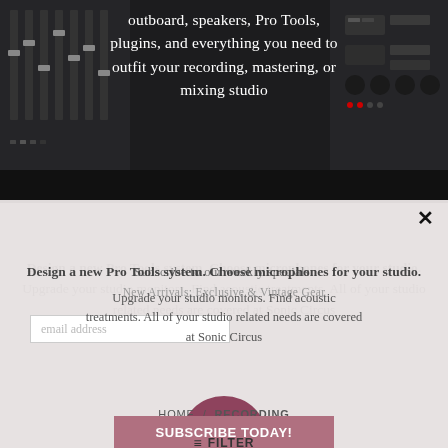[Figure (photo): Dark background of an audio mixing console/studio board with faders and knobs visible on the left and right sides]
outboard, speakers, Pro Tools, plugins, and everything you need to outfit your recording, mastering, or mixing studio
Design a new Pro Tools system. Choose microphones for your studio.
Upgrade your studio monitors. Find acoustic treatments. All of your studio related needs are covered at Sonic Circus
Subscribe to our weekly specials: New Arrivals: Exclusive & Vintage Gear
email address
HOME / RECORDING
SUBSCRIBE TODAY!
≡ FILTER